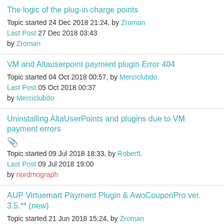The logic of the plug-in charge points
Topic started 24 Dec 2018 21:24, by Zroman
Last Post 27 Dec 2018 03:43
by Zroman
VM and Altauserpoint payment plugin Error 404
Topic started 04 Oct 2018 00:57, by Merciclubdo
Last Post 05 Oct 2018 00:37
by Merciclubdo
Uninstalling AltaUserPoints and plugins due to VM payment errors
[attachment]
Topic started 09 Jul 2018 18:33, by RobertL
Last Post 09 Jul 2018 19:00
by nordmograph
AUP Virtuemart Payment Plugin & AwoCouponPro ver. 3.5.** (new)
Topic started 21 Jun 2018 15:24, by Zroman
Last Post 28 Jun 2018 16:36
by nordmograph
1  2